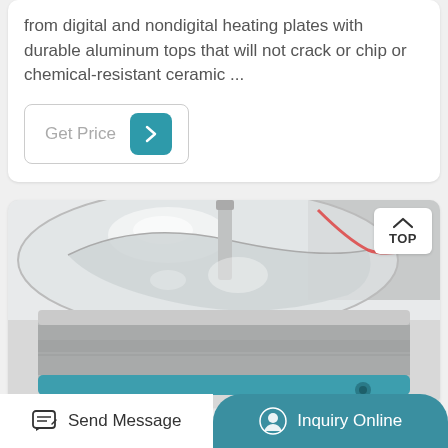from digital and nondigital heating plates with durable aluminum tops that will not crack or chip or chemical-resistant ceramic ...
Get Price
[Figure (photo): Close-up photo of a laboratory heating plate device with a glass flask or container on top, showing a metallic cylindrical base with a teal/blue ring accent at the bottom. A plastic bag or membrane and red tubing are visible on top.]
Send Message
Inquiry Online